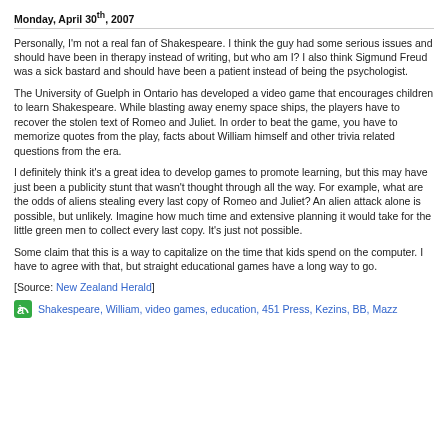Monday, April 30th, 2007
Personally, I'm not a real fan of Shakespeare. I think the guy had some serious issues and should have been in therapy instead of writing, but who am I? I also think Sigmund Freud was a sick bastard and should have been a patient instead of being the psychologist.
The University of Guelph in Ontario has developed a video game that encourages children to learn Shakespeare. While blasting away enemy space ships, the players have to recover the stolen text of Romeo and Juliet. In order to beat the game, you have to memorize quotes from the play, facts about William himself and other trivia related questions from the era.
I definitely think it's a great idea to develop games to promote learning, but this may have just been a publicity stunt that wasn't thought through all the way. For example, what are the odds of aliens stealing every last copy of Romeo and Juliet? An alien attack alone is possible, but unlikely. Imagine how much time and extensive planning it would take for the little green men to collect every last copy. It's just not possible.
Some claim that this is a way to capitalize on the time that kids spend on the computer. I have to agree with that, but straight educational games have a long way to go.
[Source: New Zealand Herald]
Shakespeare, William, video games, education, 451 Press, Kezins, BB, Mazz